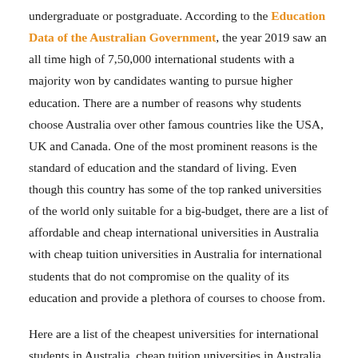undergraduate or postgraduate. According to the Education Data of the Australian Government, the year 2019 saw an all time high of 7,50,000 international students with a majority won by candidates wanting to pursue higher education. There are a number of reasons why students choose Australia over other famous countries like the USA, UK and Canada. One of the most prominent reasons is the standard of education and the standard of living. Even though this country has some of the top ranked universities of the world only suitable for a big-budget, there are a list of affordable and cheap international universities in Australia with cheap tuition universities in Australia for international students that do not compromise on the quality of its education and provide a plethora of courses to choose from.
Here are a list of the cheapest universities for international students in Australia, cheap tuition universities in Australia for international students by UniScholarz: